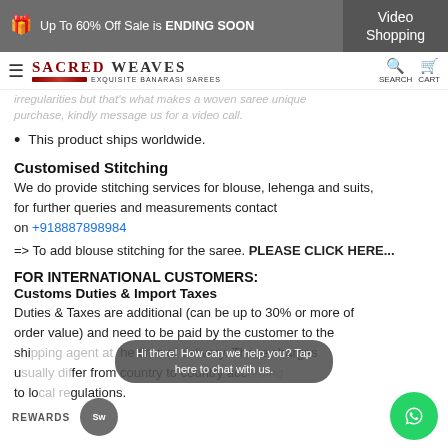Up To 60% Off Sale is ENDING SOON | Video Shopping
SACRED WEAVES — EXQUISITE BANARASI SAREES | SEARCH | CART
irregularities but that's what makes a woven saree unique
purchase, kindly message us for a video call.
This product ships worldwide.
Customised Stitching
We do provide stitching services for blouse, lehenga and suits, for further queries and measurements contact on +918887898984
=> To add blouse stitching for the saree. PLEASE CLICK HERE...
FOR INTERNATIONAL CUSTOMERS:
Customs Duties & Import Taxes
Duties & Taxes are additional (can be up to 30% or more of order value) and need to be paid by the customer to the shipping agent at the time of delivery. These charges usually differ from country to country according to local regulations.